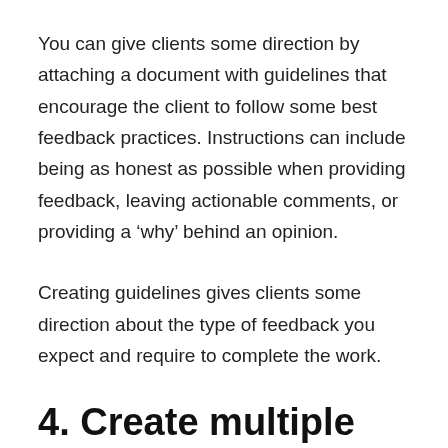You can give clients some direction by attaching a document with guidelines that encourage the client to follow some best feedback practices. Instructions can include being as honest as possible when providing feedback, leaving actionable comments, or providing a ‘why’ behind an opinion.
Creating guidelines gives clients some direction about the type of feedback you expect and require to complete the work.
4. Create multiple opportunities for